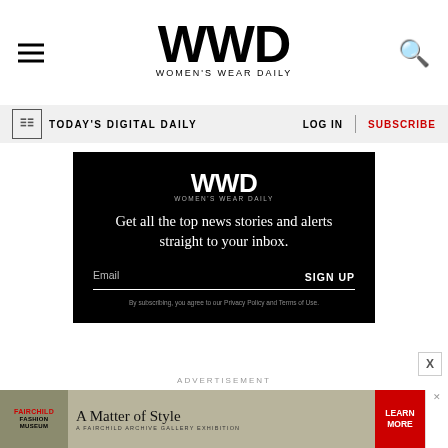WWD — WOMEN'S WEAR DAILY
TODAY'S DIGITAL DAILY
LOG IN | SUBSCRIBE
[Figure (infographic): WWD email signup box on black background with tagline 'Get all the top news stories and alerts straight to your inbox.' and email input field with SIGN UP button]
By subscribing, you agree to our Privacy Policy and Terms of Use.
ADVERTISEMENT
[Figure (photo): Bottom advertisement banner for Fairchild Fashion Museum: A Matter of Style — A Fairchild Archive Gallery Exhibition, with LEARN MORE call to action]